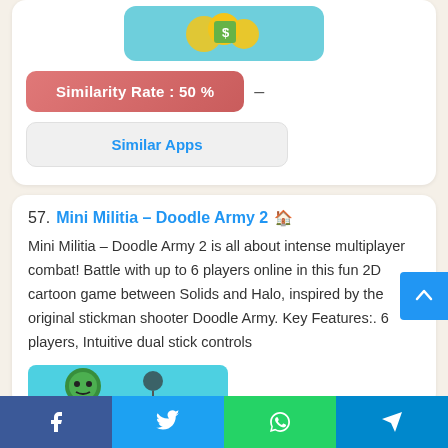[Figure (screenshot): App icon thumbnail with teal background and coin/money graphics]
Similarity Rate : 50 %
Similar Apps
57. Mini Militia – Doodle Army 2
Mini Militia – Doodle Army 2 is all about intense multiplayer combat! Battle with up to 6 players online in this fun 2D cartoon game between Solids and Halo, inspired by the original stickman shooter Doodle Army. Key Features:. 6 players, Intuitive dual stick controls
[Figure (screenshot): Mini Militia app icon thumbnail with teal/green background]